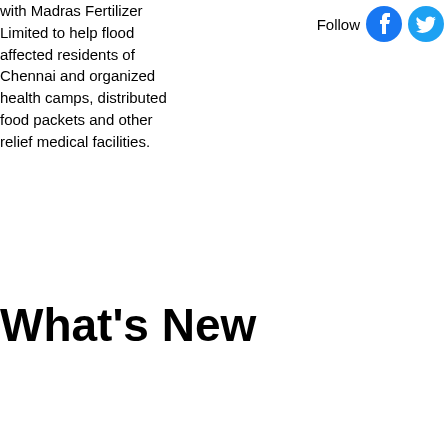with Madras Fertilizer Limited to help flood affected residents of Chennai and organized health camps, distributed food packets and other relief medical facilities.
[Figure (logo): Follow label with Facebook and Twitter social media icons]
What's New